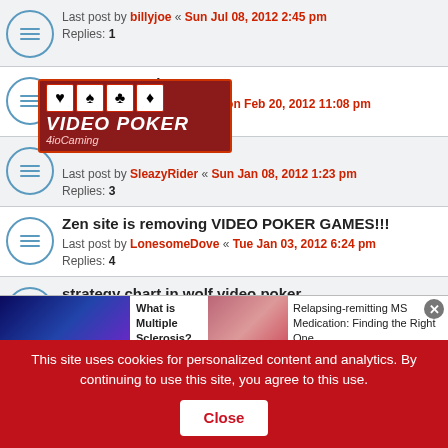Last post by billyjoe « Sun Jul 08, 2012 2:45 pm
Replies: 1
Opponent Poker
Last post by notfadeaway « Mon Feb 20, 2012 11:08 pm
Replies: 3
Zen site is removing VIDEO POKER GAMES!!!
Last post by LonesomeDove « Tue Jan 03, 2012 6:24 pm
Replies: 4
strategy chart in wolf video poker
Last post by tolate « Wed Dec 28, 2011 7:49 pm
Replies: 2
Video Poker on Iphone
Last post by Miller77 « Sat Dec 03, 2011 10:36 pm
Replies: 24
NLOP anyone?
This site uses cookies for personalized content and analytics. By continuing to use this site, you agree to this use. Close